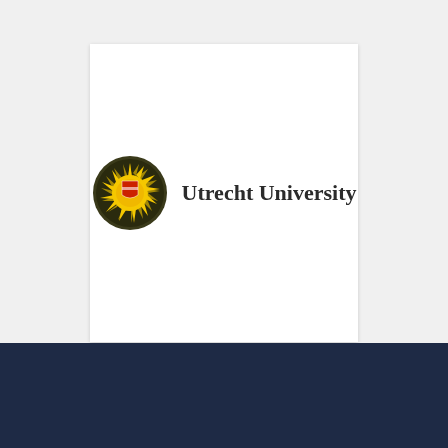[Figure (logo): Utrecht University logo: a circular sun/medallion emblem in yellow and dark olive with a red shield at the center, next to the text 'Utrecht University' in bold dark serif font.]
[Figure (other): Carousel navigation dots: five small circles, the first filled orange (active), the remaining four unfilled with gray borders.]